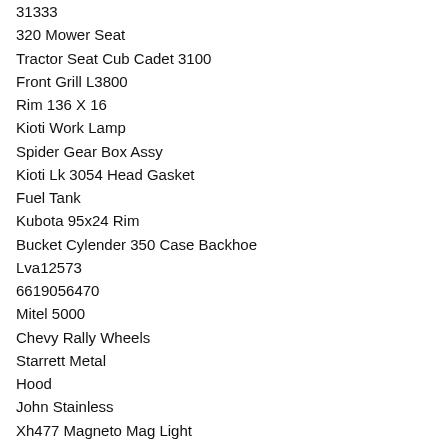31333
320 Mower Seat
Tractor Seat Cub Cadet 3100
Front Grill L3800
Rim 136 X 16
Kioti Work Lamp
Spider Gear Box Assy
Kioti Lk 3054 Head Gasket
Fuel Tank
Kubota 95x24 Rim
Bucket Cylender 350 Case Backhoe
Lva12573
6619056470
Mitel 5000
Chevy Rally Wheels
Starrett Metal
Hood
John Stainless
Xh477 Magneto Mag Light
Furnace Samsung
Test Vintage
Alkota
John Deere Wheels Cast